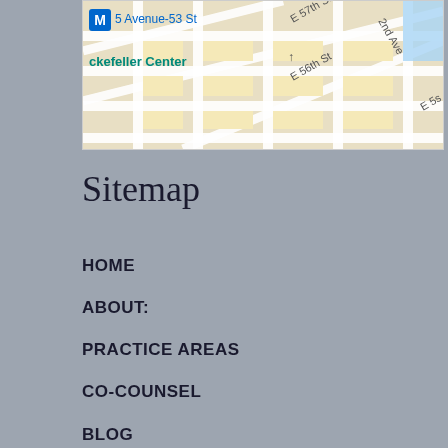[Figure (map): Google Maps screenshot showing streets near 5 Avenue-53 St subway station, Rockefeller Center area, with E 57th St, E 56th St, 2nd Ave visible]
Sitemap
HOME
ABOUT:
PRACTICE AREAS
CO-COUNSEL
BLOG
CONTACT
Practice Areas
TRIP & FALL ACCIDENTS